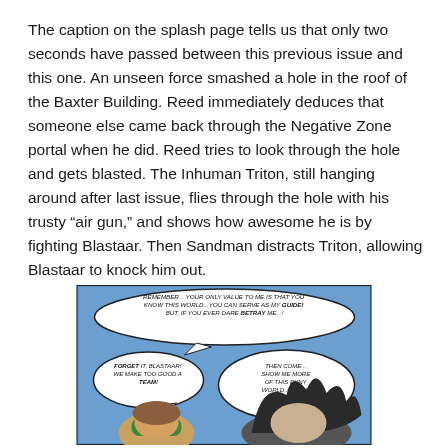The caption on the splash page tells us that only two seconds have passed between this previous issue and this one. An unseen force smashed a hole in the roof of the Baxter Building. Reed immediately deduces that someone else came back through the Negative Zone portal when he did. Reed tries to look through the hole and gets blasted. The Inhuman Triton, still hanging around after last issue, flies through the hole with his trusty “air gun,” and shows how awesome he is by fighting Blastaar. Then Sandman distracts Triton, allowing Blastaar to knock him out.
[Figure (illustration): Comic book panel showing two characters with speech bubbles. Top speech bubble reads: REMEMBER... YOUR ONLY VALUE TO ME IS THAT YOU KNOW THIS WORLD...YOU CAN SERVE AS MY GUIDE! BUT, IF YOU EVER DARE BETRAY ME...! Second speech bubble on left: FORGET IT, BLASTAAR! WE MAKE TOO GOOD A TEAM! Third speech bubble on right: THEN COME...SHOW ME MORE OF THIS PUNY WORLD...WHICH WILL SOON BE MINE! Characters visible are a figure with a green hat/mask and a large-haired villain.]